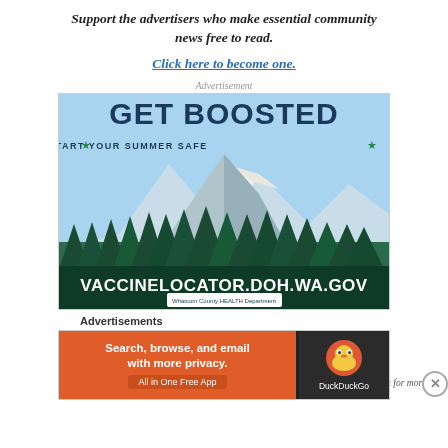Support the advertisers who make essential community news free to read.
Click here to become one.
Advertisement
[Figure (illustration): GET BOOSTED AND START YOUR SUMMER SAFE advertisement from Whatcom County Health Department featuring a mountain and forest landscape. URL shown: VACCINELOCATOR.DOH.WA.GOV]
Click for more
Advertisements
[Figure (illustration): DuckDuckGo ad: Search, browse, and email with more privacy. All in One Free App. DuckDuckGo logo on dark background.]